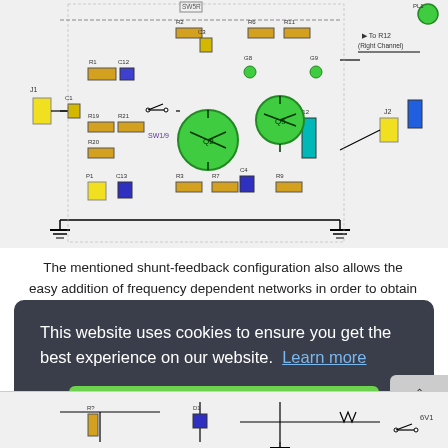[Figure (circuit-diagram): Electronic circuit schematic showing amplifier/preamplifier circuit with transistors (green), resistors (yellow/brown), capacitors, switches (SW1), and connections to J1, J2, Right Channel output, with component labels R1-R21, C1-C15, Q2, Q5, etc.]
The mentioned shunt-feedback configuration also allows the easy addition of frequency dependent networks in order to obtain an useful, unobtrusive, switchable Tilt control (optional). When SW1 is...
Circuit Construction Tips...
This website uses cookies to ensure you get the best experience on our website. Learn more
Got it!